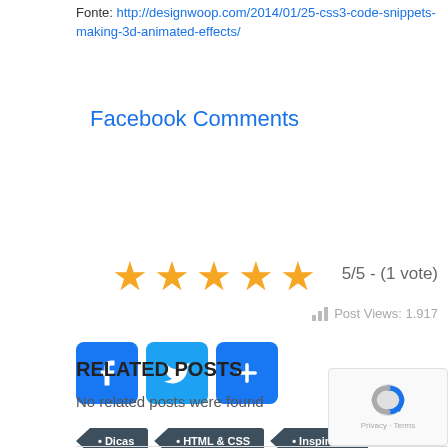Fonte: http://designwoop.com/2014/01/25-css3-code-snippets-making-3d-animated-effects/
Facebook Comments
[Figure (other): Five orange star rating icons showing 5/5 - (1 vote) and Post Views: 1.917]
[Figure (other): Social share buttons: Facebook (blue f icon), Twitter (blue bird icon), and a blue plus button]
• Dicas
• HTML & CSS
• Inspiração
RELATED POSTS
No related posts were found